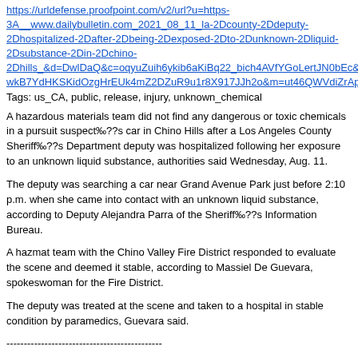https://urldefense.proofpoint.com/v2/url?u=https-3A__www.dailybulletin.com_2021_08_11_la-2Dcounty-2Ddeputy-2Dhospitalized-2Dafter-2Dbeing-2Dexposed-2Dto-2Dunknown-2Dliquid-2Dsubstance-2Din-2Dchino-2Dhills_&d=DwlDaQ&c=oqyuZuih6ykib6aKiBq22_bich4AVfYGoLertJN0bEc&r=-wkB7YdHKSKidOzgHrEUk4mZ2DZuR9u1r8X917JJh2o&m=ut46QWVdiZrApfhIsw
Tags: us_CA, public, release, injury, unknown_chemical
A hazardous materials team did not find any dangerous or toxic chemicals in a pursuit suspect‰??s car in Chino Hills after a Los Angeles County Sheriff‰??s Department deputy was hospitalized following her exposure to an unknown liquid substance, authorities said Wednesday, Aug. 11.
The deputy was searching a car near Grand Avenue Park just before 2:10 p.m. when she came into contact with an unknown liquid substance, according to Deputy Alejandra Parra of the Sheriff‰??s Information Bureau.
A hazmat team with the Chino Valley Fire District responded to evaluate the scene and deemed it stable, according to Massiel De Guevara, spokeswoman for the Fire District.
The deputy was treated at the scene and taken to a hospital in stable condition by paramedics, Guevara said.
---------------------------------------------
FOLLOWING LAB BLAZE, IISER SET TO APPOINT FIRE AND SAFETY OFFICER
https://urldefense.proofpoint.com/v2/url?u=https-3A__indianexpress.com_article_cities_pune_following-2Dlab-2Dblaze-2Diiser-2Dset-2Dto-2Dappoint-2Dfire-2Dand-2Dsafety-2Dofficer-2D7447791_&d=DwlDaQ&c=oqyuZuih6ykib6aKiBq22_bich4AVfYGoLertJN0bEc&r=-wkB7YdHKSKidOzgHrEUk4mZ2DZuR9u1r8X917JJh2o&m=ut46QWVdiZrApfhIsw
Tags: India, laboratory, follow-up, environmental, unknown_chemical